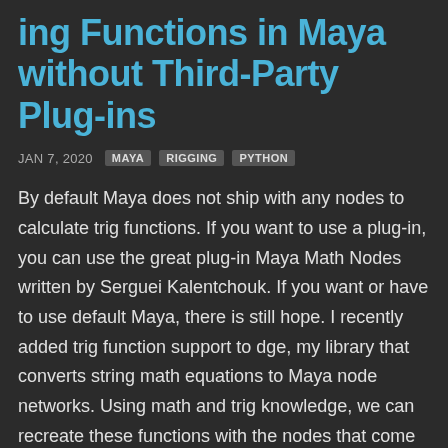ing Functions in Maya without Third-Party Plug-ins
JAN 7, 2020  MAYA  RIGGING  PYTHON
By default Maya does not ship with any nodes to calculate trig functions. If you want to use a plug-in, you can use the great plug-in Maya Math Nodes written by Serguei Kalentchouk. If you want or have to use default Maya, there is still hope. I recently added trig function support to dge, my library that converts string math equations to Maya node networks. Using math and trig knowledge, we can recreate these functions with the nodes that come with Maya....